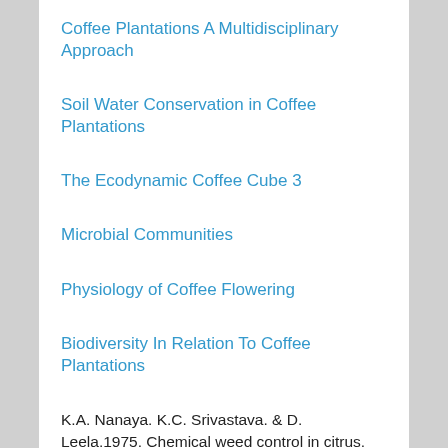Coffee Plantations A Multidisciplinary Approach
Soil Water Conservation in Coffee Plantations
The Ecodynamic Coffee Cube 3
Microbial Communities
Physiology of Coffee Flowering
Biodiversity In Relation To Coffee Plantations
K.A. Nanaya. K.C. Srivastava. & D. Leela.1975. Chemical weed control in citrus. Geobios 2: 140-143